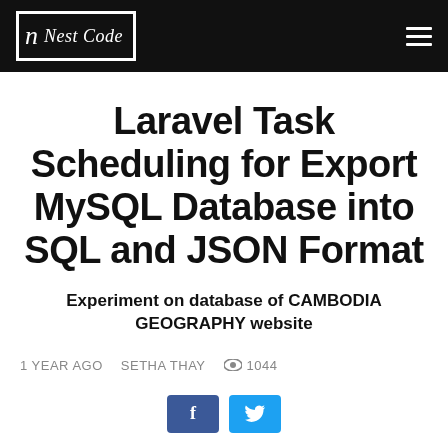n Nest Code
Laravel Task Scheduling for Export MySQL Database into SQL and JSON Format
Experiment on database of CAMBODIA GEOGRAPHY website
1 YEAR AGO   SETHA THAY   1044
[Figure (other): Facebook and Twitter social share buttons]